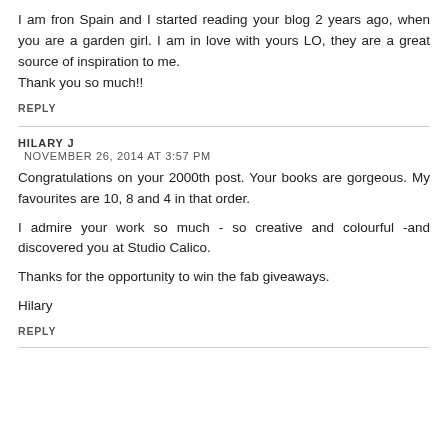I am fron Spain and I started reading your blog 2 years ago, when you are a garden girl. I am in love with yours LO, they are a great source of inspiration to me.
Thank you so much!!
REPLY
HILARY J
NOVEMBER 26, 2014 AT 3:57 PM
Congratulations on your 2000th post. Your books are gorgeous. My favourites are 10, 8 and 4 in that order.
I admire your work so much - so creative and colourful -and discovered you at Studio Calico.
Thanks for the opportunity to win the fab giveaways.
Hilary
REPLY